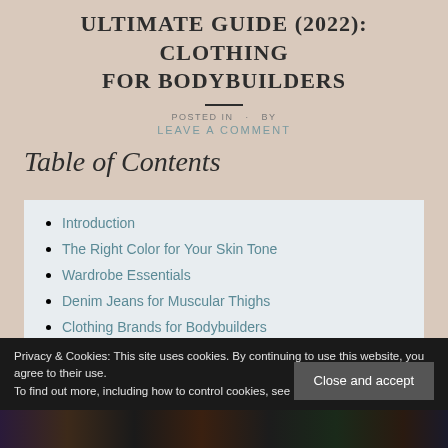ULTIMATE GUIDE (2022): CLOTHING FOR BODYBUILDERS
LEAVE A COMMENT
Table of Contents
Introduction
The Right Color for Your Skin Tone
Wardrobe Essentials
Denim Jeans for Muscular Thighs
Clothing Brands for Bodybuilders
Privacy & Cookies: This site uses cookies. By continuing to use this website, you agree to their use.
To find out more, including how to control cookies, see here: Cookie Policy
[Figure (photo): Bottom image strip with dark colorful clothing photos]